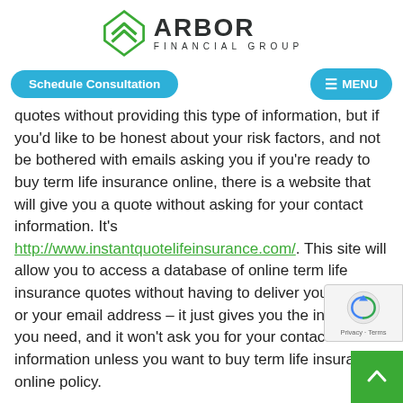[Figure (logo): Arbor Financial Group logo with green diamond/chevron icon and dark text]
Schedule Consultation  ≡ MENU
quotes without providing this type of information, but if you'd like to be honest about your risk factors, and not be bothered with emails asking you if you're ready to buy term life insurance online, there is a website that will give you a quote without asking for your contact information. It's http://www.instantquotelifeinsurance.com/. This site will allow you to access a database of online term life insurance quotes without having to deliver your name or your email address – it just gives you the information you need, and it won't ask you for your contact information unless you want to buy term life insurance online policy.